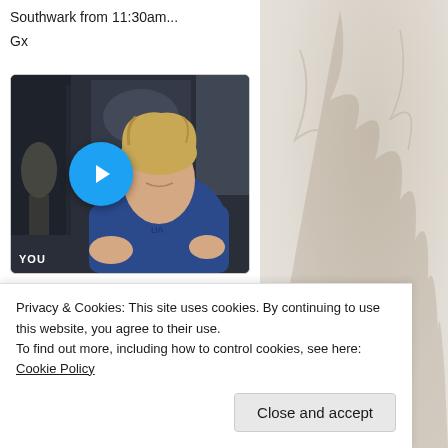Southwark from 11:30am...
Gx
[Figure (screenshot): Video thumbnail showing a man in a blue t-shirt with disheveled hair, appearing to speak to camera. A blue circular play button is overlaid in the center-left of the image. The background shows a room interior. A label 'YOU' appears in the bottom-left of the video frame.]
32   785
Privacy & Cookies: This site uses cookies. By continuing to use this website, you agree to their use.
To find out more, including how to control cookies, see here: Cookie Policy
Close and accept